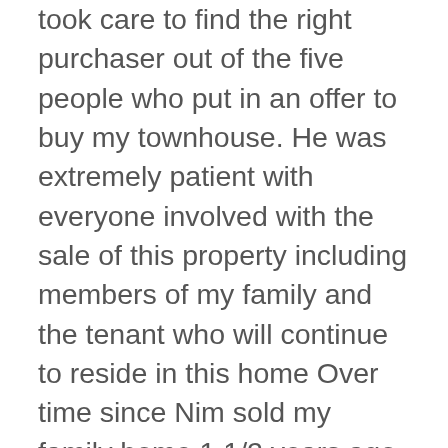took care to find the right purchaser out of the five people who put in an offer to buy my townhouse. He was extremely patient with everyone involved with the sale of this property including members of my family and the tenant who will continue to reside in this home Over time since Nim sold my family home 1 1/2 years ago, we have become good friends. He has become another member of our family. Nim slowly presented all of the offers to me and we both dissected them to find the one that best suited my purpose. I really wanted this